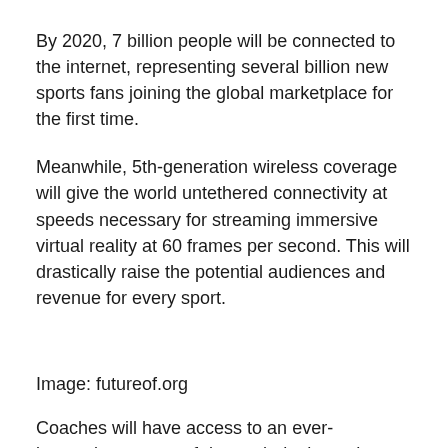By 2020, 7 billion people will be connected to the internet, representing several billion new sports fans joining the global marketplace for the first time.
Meanwhile, 5th-generation wireless coverage will give the world untethered connectivity at speeds necessary for streaming immersive virtual reality at 60 frames per second. This will drastically raise the potential audiences and revenue for every sport.
Image: futureof.org
Coaches will have access to an ever-increasing stream of data to help them shape game strategies and real-time decision making.
Game scenarios will be simulated by active